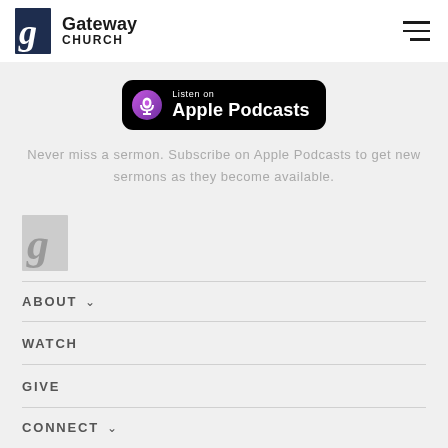Gateway Church
[Figure (logo): Apple Podcasts Listen on badge – black rounded rectangle with purple podcast icon]
Never miss a sermon. Subscribe on Apple Podcasts to get new sermons as they become available.
[Figure (logo): Gateway Church logo mark (dark blue G monogram)]
ABOUT
WATCH
GIVE
CONNECT